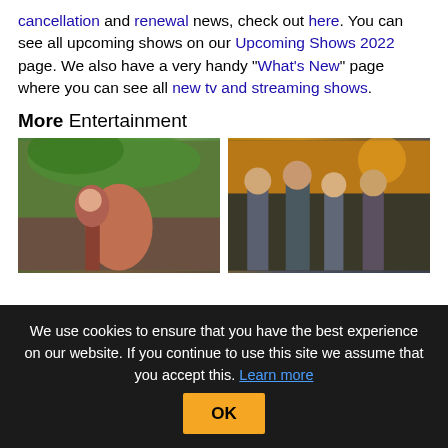cancellation and renewal news, check out here. You can see all upcoming shows on our Upcoming Shows 2022 page. We also have a very handy "What's New" page where you can see all new tv and streaming shows.
More Entertainment
[Figure (photo): Two photos side by side: left shows a young woman outdoors in a wooded area, right shows a group of people standing together]
We use cookies to ensure that you have the best experience on our website. If you continue to use this site we assume that you accept this. Learn more OK